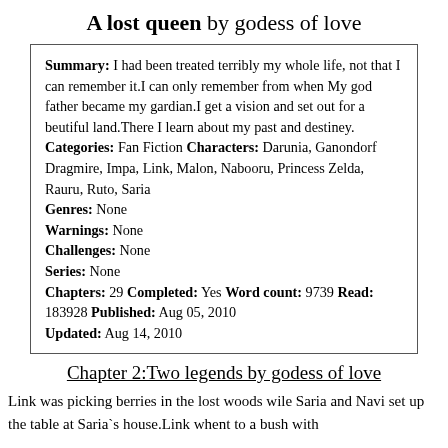A lost queen by godess of love
Summary: I had been treated terribly my whole life, not that I can remember it.I can only remember from when My god father became my gardian.I get a vision and set out for a beutiful land.There I learn about my past and destiney. Categories: Fan Fiction Characters: Darunia, Ganondorf Dragmire, Impa, Link, Malon, Nabooru, Princess Zelda, Rauru, Ruto, Saria Genres: None Warnings: None Challenges: None Series: None Chapters: 29 Completed: Yes Word count: 9739 Read: 183928 Published: Aug 05, 2010 Updated: Aug 14, 2010
Chapter 2:Two legends by godess of love
Link was picking berries in the lost woods wile Saria and Navi set up the table at Saria`s house.Link whent to a bush with